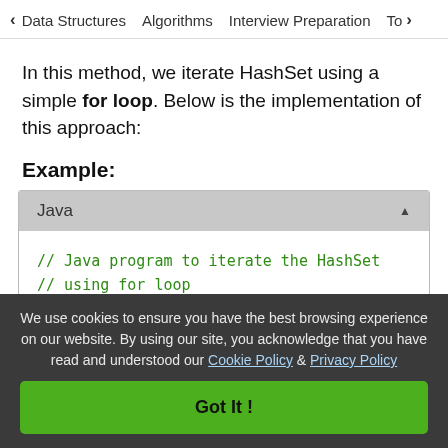< Data Structures   Algorithms   Interview Preparation   To>
In this method, we iterate HashSet using a simple for loop. Below is the implementation of this approach:
Example:
[Figure (screenshot): Code block showing Java tab with triangle/expand icon, containing green monospace comment text: // Java program to iterate the HashSet // using for loop, followed by partially visible code line]
We use cookies to ensure you have the best browsing experience on our website. By using our site, you acknowledge that you have read and understood our Cookie Policy & Privacy Policy
Got It !